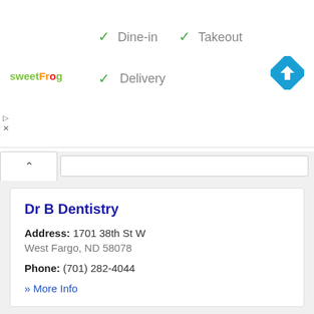[Figure (screenshot): Advertisement banner with sweetFrog logo and checkmarks for Dine-in, Takeout, Delivery, and a blue navigation/directions diamond icon.]
✓ Dine-in  ✓ Takeout
✓ Delivery
Dr B Dentistry
Address: 1701 38th St W
West Fargo, ND 58078
Phone: (701) 282-4044
» More Info
Dr. David Jeffrey Corwin, DDS
Address: 120 1st Street
West Fargo, ND 58078
Phone: (701) 282-5930